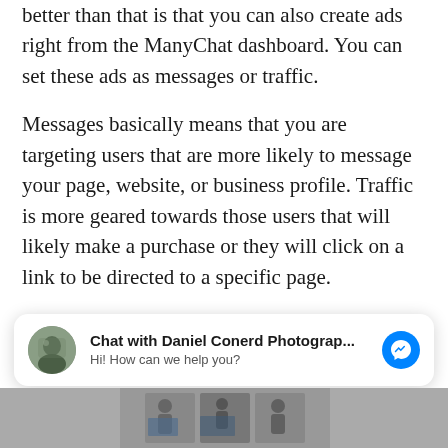better than that is that you can also create ads right from the ManyChat dashboard. You can set these ads as messages or traffic.
Messages basically means that you are targeting users that are more likely to message your page, website, or business profile. Traffic is more geared towards those users that will likely make a purchase or they will click on a link to be directed to a specific page.
[Figure (screenshot): Facebook Messenger chat widget showing 'Chat with Daniel Conerd Photograp...' with avatar photo and 'Hi! How can we help you?' subtitle, and a blue Messenger icon button on the right.]
[Figure (photo): Partial bottom image strip showing multiple photos of people in what appears to be a workshop or presentation setting.]